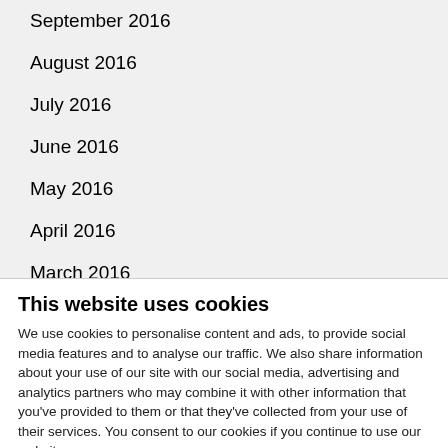September 2016
August 2016
July 2016
June 2016
May 2016
April 2016
March 2016
February 2016
This website uses cookies
We use cookies to personalise content and ads, to provide social media features and to analyse our traffic. We also share information about your use of our site with our social media, advertising and analytics partners who may combine it with other information that you've provided to them or that they've collected from your use of their services. You consent to our cookies if you continue to use our website.
OK
Necessary  Preferences  Statistics  Marketing  Show details